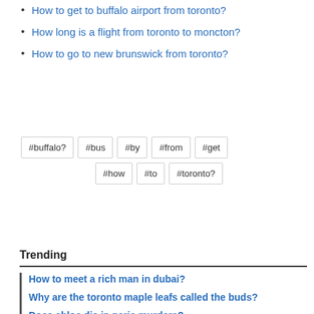How to get to buffalo airport from toronto?
How long is a flight from toronto to moncton?
How to go to new brunswick from toronto?
#buffalo? #bus #by #from #get #how #to #toronto?
Trending
How to meet a rich man in dubai?
Why are the toronto maple leafs called the buds?
Does chloe die in paris murders?